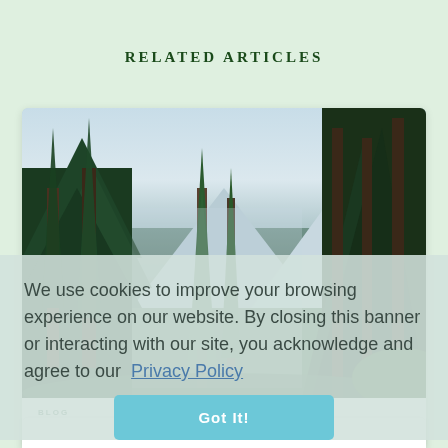RELATED ARTICLES
[Figure (photo): Forest scene with tall pine trees, cloudy sky, and snow-capped mountain in background]
BLOG
How Planting Trees Offsets Carbon
We use cookies to improve your browsing experience on our website. By closing this banner or interacting with our site, you acknowledge and agree to our Privacy Policy
Got It!